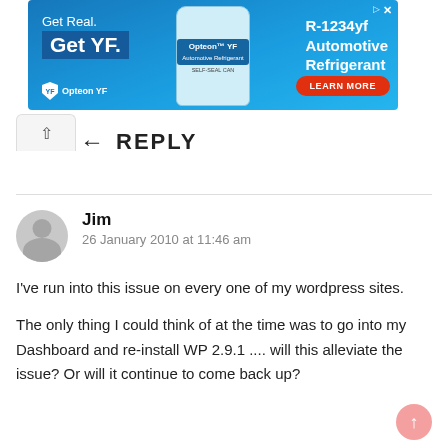[Figure (screenshot): Advertisement banner for Opteon YF R-1234yf Automotive Refrigerant with 'Get Real. Get YF.' text and Learn More button]
← REPLY
Jim
26 January 2010 at 11:46 am

I've run into this issue on every one of my wordpress sites.

The only thing I could think of at the time was to go into my Dashboard and re-install WP 2.9.1 .... will this alleviate the issue? Or will it continue to come back up?